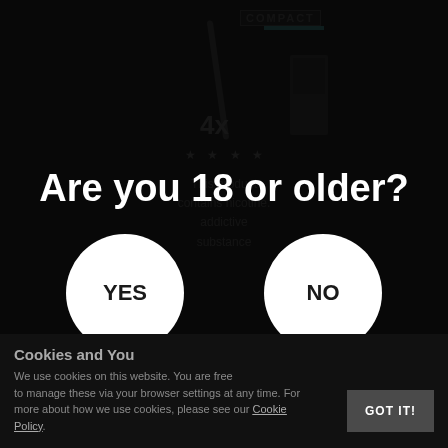[Figure (screenshot): Age verification overlay on an e-commerce product page for Logic Compact Multi Mix Starter Kit. Background shows product image with '4x' text, stars, product name, and price £14.00. A dark overlay modal asks 'Are you 18 or older?' with YES and NO circular buttons. Below shows 'You must verify that you are 18 years of age or older to enter this site.' A cookies notification bar at the bottom reads 'Cookies and You' with text about cookie usage and a GOT IT! button.]
Are you 18 or older?
You must verify that you are 18 years of age or older to enter this site.
Cookies and You
We use cookies on this website. You are free to manage these via your browser settings at any time. For more about how we use cookies, please see our Cookie Policy.